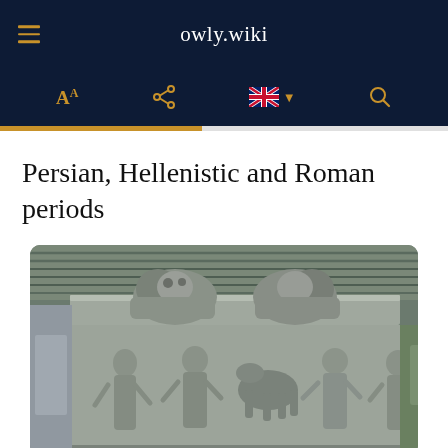owly.wiki
Persian, Hellenistic and Roman periods
[Figure (photo): Stone sarcophagus with two carved lions reclining on the lid and relief figures of human figures on the body, displayed under a shelter outdoors.]